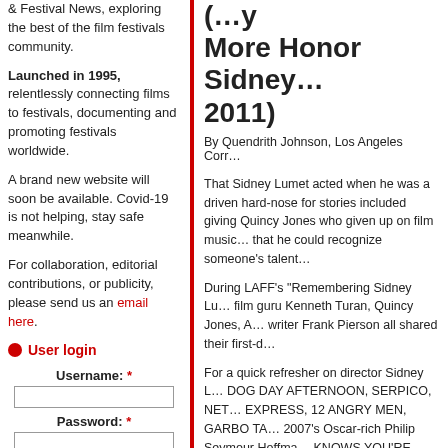& Festival News, exploring the best of the film festivals community.
Launched in 1995, relentlessly connecting films to festivals, documenting and promoting festivals worldwide.
A brand new website will soon be available. Covid-19 is not helping, stay safe meanwhile.
For collaboration, editorial contributions, or publicity, please send us an email here.
User login
Username: *
Password: *
Create new account
Request new password
(…) More Honor Sidney… 2011)
By Quendrith Johnson, Los Angeles Corr…
That Sidney Lumet acted when he was a driven hard-nose for stories included giving Quincy Jones who given up on film music… that he could recognize someone's talent…
During LAFF's "Remembering Sidney Lu… film guru Kenneth Turan, Quincy Jones, A… writer Frank Pierson all shared their first-d…
For a quick refresher on director Sidney L… DOG DAY AFTERNOON, SERPICO, NET… EXPRESS, 12 ANGRY MEN, GARBO TA… 2007's Oscar-rich Philip Seymour Hoffma… KNOWS YOU'RE DEAD.
Quincy Jones, who is no youngster himse… music) until I was 30. I was at Lena Horne… music was there. Lena told him to listen to… who said "I' want you to come down and b… PAWNBROKER (1964)."